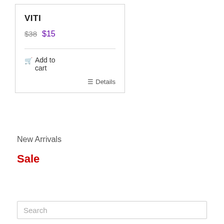VITI
$38  $15
Add to cart
Details
New Arrivals
Sale
Search